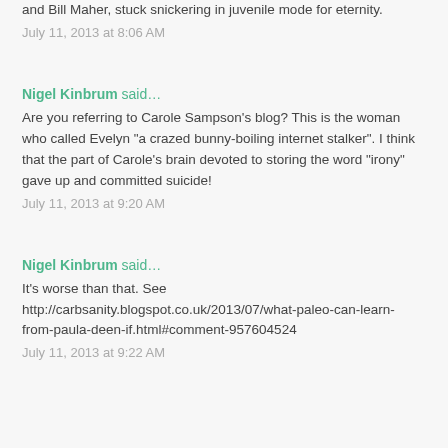and Bill Maher, stuck snickering in juvenile mode for eternity.
July 11, 2013 at 8:06 AM
Nigel Kinbrum said…
Are you referring to Carole Sampson's blog? This is the woman who called Evelyn "a crazed bunny-boiling internet stalker". I think that the part of Carole's brain devoted to storing the word "irony" gave up and committed suicide!
July 11, 2013 at 9:20 AM
Nigel Kinbrum said…
It's worse than that. See http://carbsanity.blogspot.co.uk/2013/07/what-paleo-can-learn-from-paula-deen-if.html#comment-957604524
July 11, 2013 at 9:22 AM